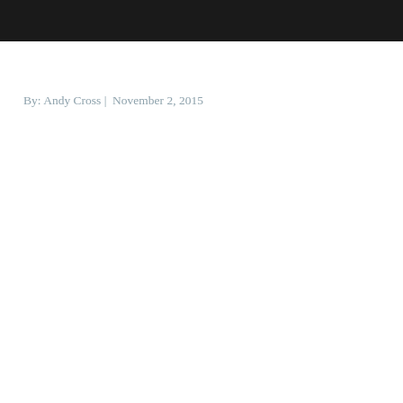By: Andy Cross |  November 2, 2015